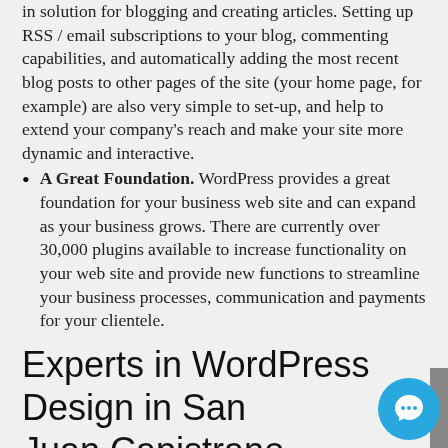in solution for blogging and creating articles. Setting up RSS / email subscriptions to your blog, commenting capabilities, and automatically adding the most recent blog posts to other pages of the site (your home page, for example) are also very simple to set-up, and help to extend your company's reach and make your site more dynamic and interactive.
A Great Foundation. WordPress provides a great foundation for your business web site and can expand as your business grows. There are currently over 30,000 plugins available to increase functionality on your web site and provide new functions to streamline your business processes, communication and payments for your clientele.
Experts in WordPress Design in San Juan Capistrano
Stark Logic is at the fore front of WordPress development. Our company can customize any web site and create a WordPress installation with plugins unique to your business. Call for a quote and find out how WordPress can increase your sales. If you already have a WordPress web site, we can help with changes, adding or creating plugins, or fixing the code of your current site.